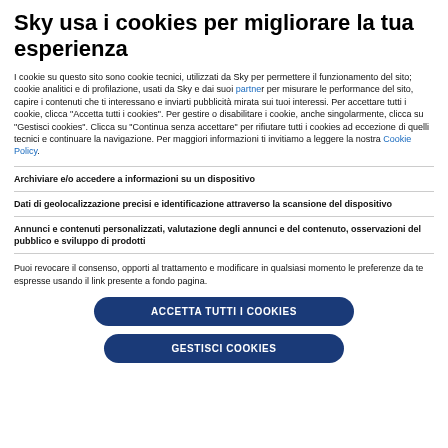Sky usa i cookies per migliorare la tua esperienza
I cookie su questo sito sono cookie tecnici, utilizzati da Sky per permettere il funzionamento del sito; cookie analitici e di profilazione, usati da Sky e dai suoi partner per misurare le performance del sito, capire i contenuti che ti interessano e inviarti pubblicità mirata sui tuoi interessi. Per accettare tutti i cookie, clicca "Accetta tutti i cookies". Per gestire o disabilitare i cookie, anche singolarmente, clicca su "Gestisci cookies". Clicca su "Continua senza accettare" per rifiutare tutti i cookies ad eccezione di quelli tecnici e continuare la navigazione. Per maggiori informazioni ti invitiamo a leggere la nostra Cookie Policy.
Archiviare e/o accedere a informazioni su un dispositivo
Dati di geolocalizzazione precisi e identificazione attraverso la scansione del dispositivo
Annunci e contenuti personalizzati, valutazione degli annunci e del contenuto, osservazioni del pubblico e sviluppo di prodotti
Puoi revocare il consenso, opporti al trattamento e modificare in qualsiasi momento le preferenze da te espresse usando il link presente a fondo pagina.
ACCETTA TUTTI I COOKIES
GESTISCI COOKIES